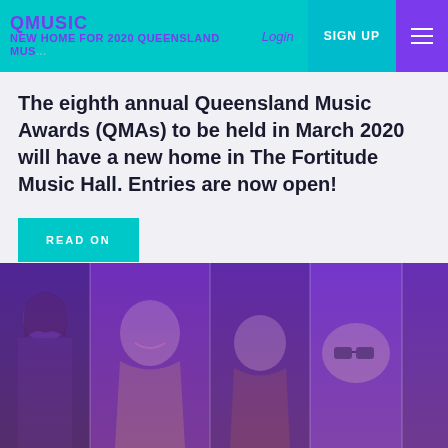QMUSIC | NEW HOME FOR 2020 QUEENSLAND MUS... | Login | SIGN UP
NEW HOME FOR 2020 QUEENSLAND MUSIC AWARDS
The eighth annual Queensland Music Awards (QMAs) to be held in March 2020 will have a new home in The Fortitude Music Hall. Entries are now open!
READ ON
[Figure (photo): Five musicians shown side by side in purple-tinted black and white photos: a young man with long hair, a smiling woman, a young person looking sideways, a person reclining with sunglasses, and a man with a beanie.]